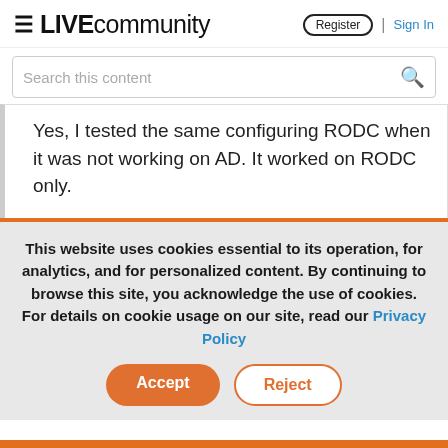≡ LIVEcommunity  Register | Sign In
Search this content
Yes, I tested the same configuring RODC when it was not working on AD. It worked on RODC only.
This website uses cookies essential to its operation, for analytics, and for personalized content. By continuing to browse this site, you acknowledge the use of cookies. For details on cookie usage on our site, read our Privacy Policy
Accept   Reject